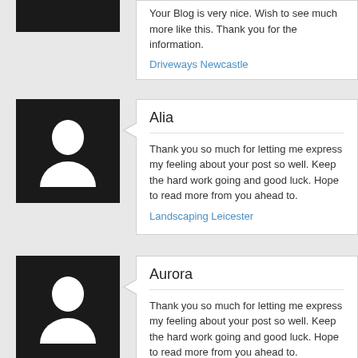Your Blog is very nice. Wish to see much more like this. Thank you for the information.
Driveways Newcastle
Alia
Thank you so much for letting me express my feeling about your post so well. Keep the hard work going and good luck. Hope to read more from you ahead to.
Landscaping Leicester
Aurora
Thank you so much for letting me express my feeling about your post so well. Keep the hard work going and good luck. Hope to read more from you ahead to.
Bi fold doors manchester